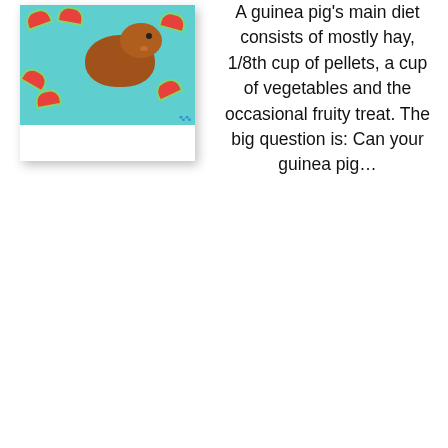[Figure (photo): A guinea pig sitting on a teal/turquoise background with watermelon slice illustrations. The image has a white strip at the bottom and a drop shadow.]
A guinea pig's main diet consists of mostly hay, 1/8th cup of pellets, a cup of vegetables and the occasional fruity treat. The big question is: Can your guinea pig…